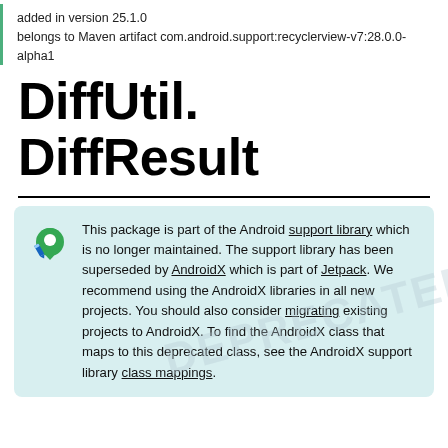added in version 25.1.0
belongs to Maven artifact com.android.support:recyclerview-v7:28.0.0-alpha1
DiffUtil.DiffResult
This package is part of the Android support library which is no longer maintained. The support library has been superseded by AndroidX which is part of Jetpack. We recommend using the AndroidX libraries in all new projects. You should also consider migrating existing projects to AndroidX. To find the AndroidX class that maps to this deprecated class, see the AndroidX support library class mappings.